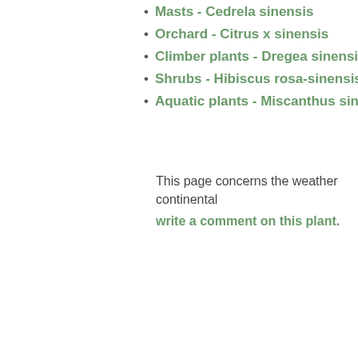Masts - Cedrela sinensis
Orchard - Citrus x sinensis
Climber plants - Dregea sinensis
Shrubs - Hibiscus rosa-sinensis
Aquatic plants - Miscanthus sine
This page concerns the weather continental write a comment on this plant.